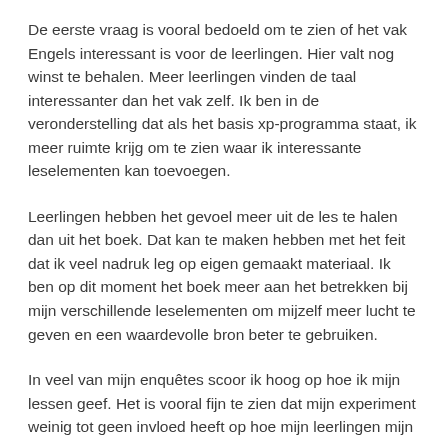De eerste vraag is vooral bedoeld om te zien of het vak Engels interessant is voor de leerlingen. Hier valt nog winst te behalen. Meer leerlingen vinden de taal interessanter dan het vak zelf. Ik ben in de veronderstelling dat als het basis xp-programma staat, ik meer ruimte krijg om te zien waar ik interessante leselementen kan toevoegen.
Leerlingen hebben het gevoel meer uit de les te halen dan uit het boek. Dat kan te maken hebben met het feit dat ik veel nadruk leg op eigen gemaakt materiaal. Ik ben op dit moment het boek meer aan het betrekken bij mijn verschillende leselementen om mijzelf meer lucht te geven en een waardevolle bron beter te gebruiken.
In veel van mijn enquêtes scoor ik hoog op hoe ik mijn lessen geef. Het is vooral fijn te zien dat mijn experiment weinig tot geen invloed heeft op hoe mijn leerlingen mijn